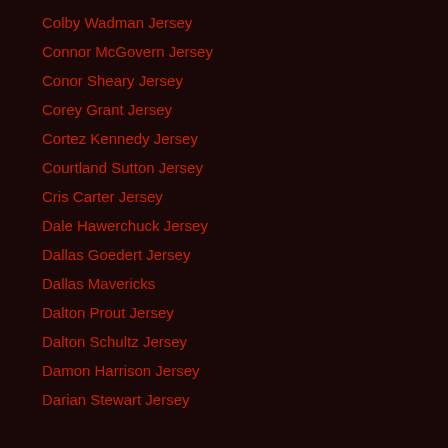Colby Wadman Jersey
Connor McGovern Jersey
Conor Sheary Jersey
Corey Grant Jersey
Cortez Kennedy Jersey
Courtland Sutton Jersey
Cris Carter Jersey
Dale Hawerchuck Jersey
Dallas Goedert Jersey
Dallas Mavericks
Dalton Prout Jersey
Dalton Schultz Jersey
Damon Harrison Jersey
Darian Stewart Jersey